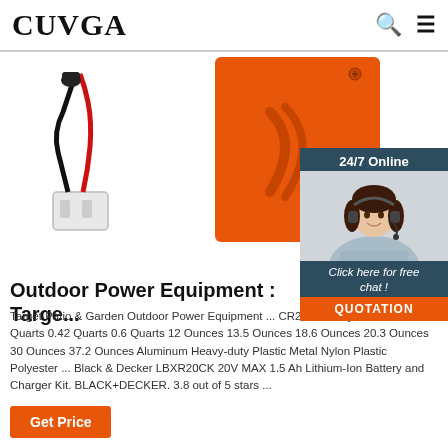CUVGA
[Figure (photo): Battery connector cable with red and black wires and white plug, and an orange rectangular battery/power unit box with screws and a rounded design detail on the front]
[Figure (infographic): Customer service chat widget with '24/7 Online' text, photo of a smiling woman with headset, 'Click here for free chat!' text, and an orange QUOTATION button]
Outdoor Power Equipment : Targe...
Target Patio & Garden Outdoor Power Equipment ... CR2032 0.4 Quarts 0.41 Quarts 0.42 Quarts 0.6 Quarts 12 Ounces 13.5 Ounces 18.6 Ounces 20.3 Ounces 30 Ounces 37.2 Ounces Aluminum Heavy-duty Plastic Metal Nylon Plastic Polyester ... Black & Decker LBXR20CK 20V MAX 1.5 Ah Lithium-Ion Battery and Charger Kit. BLACK+DECKER. 3.8 out of 5 stars ...
Get Price